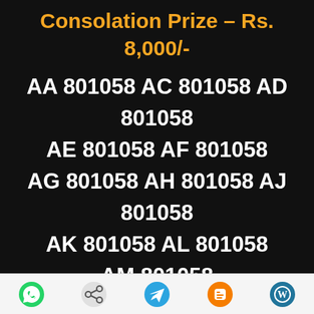Consolation Prize – Rs. 8,000/-
AA 801058 AC 801058 AD 801058 AE 801058 AF 801058 AG 801058 AH 801058 AJ 801058 AK 801058 AL 801058 AM 801058
Social share icons: WhatsApp, Share, Telegram, Blogger, WordPress